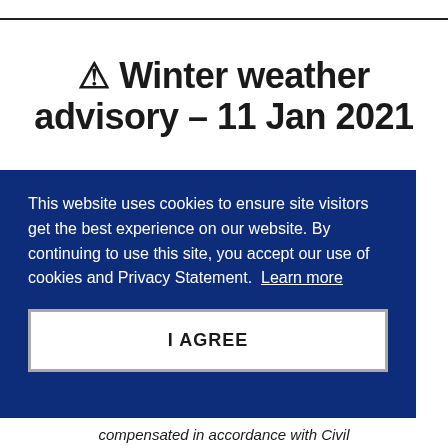⚠ Winter weather advisory – 11 Jan 2021
This website uses cookies to ensure site visitors get the best experience on our website. By continuing to use this site, you accept our use of cookies and Privacy Statement. Learn more
I AGREE
compensated in accordance with Civil